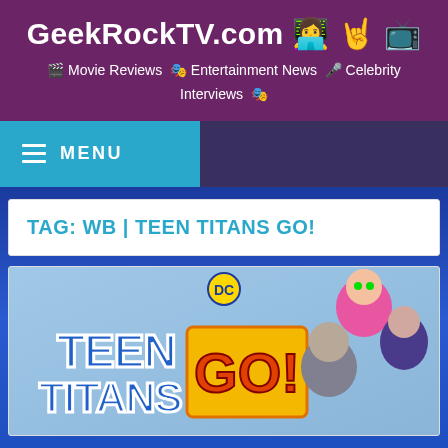GeekRockTV.com 👩‍💻 🤘 📺
🎬 Movie Reviews 🎭 Entertainment News 🎤 Celebrity Interviews 🎭
MENU
TAG: WB | TEEN TITANS GO!
[Figure (illustration): Teen Titans Go! animated logo with DC branding and cartoon characters including Starfire, Robin, Cyborg, and another character]